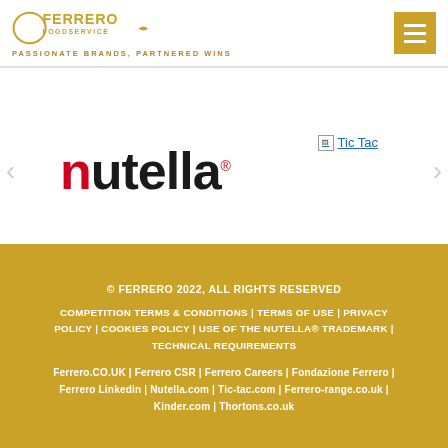[Figure (logo): Ferrero Foodservice logo with tagline PASSIONATE BRANDS, PARTNERED WINS]
[Figure (logo): Nutella brand logo in black and red]
[Figure (logo): Tic Tac brand link/image]
© FERRERO 2022, ALL RIGHTS RESERVED

COMPETITION TERMS & CONDITIONS | TERMS OF USE | PRIVACY POLICY | COOKIES POLICY | USE OF THE NUTELLA® TRADEMARK | TECHNICAL REQUIREMENTS

Ferrero.CO.UK | Ferrero CSR | Ferrero Careers | Fondazione Ferrero | Ferrero Linkedin | Nutella.com | Tic-tac.com | Ferrero-range.co.uk | Kinder.com | Thortons.co.uk